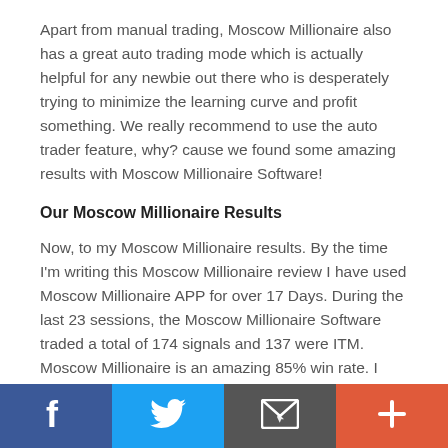Apart from manual trading, Moscow Millionaire also has a great auto trading mode which is actually helpful for any newbie out there who is desperately trying to minimize the learning curve and profit something. We really recommend to use the auto trader feature, why? cause we found some amazing results with Moscow Millionaire Software!
Our Moscow Millionaire Results
Now, to my Moscow Millionaire results. By the time I'm writing this Moscow Millionaire review I have used Moscow Millionaire APP for over 17 Days. During the last 23 sessions, the Moscow Millionaire Software traded a total of 174 signals and 137 were ITM. Moscow Millionaire is an amazing 85% win rate. I made a deposit of $300 with my broker and invested $50 per each trade (What can I do, I'm usually very skeptic about
Social share bar: Facebook, Twitter, Email, Plus